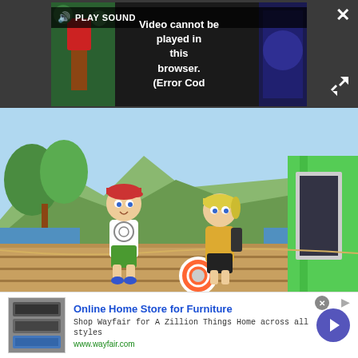[Figure (screenshot): Video player showing error message 'Video cannot be played in this browser. (Error Cod' with speaker/play sound button, close X button, and expand button. Dark background with partial game screenshots on left and right.]
[Figure (screenshot): Animal Crossing style game screenshot showing two cartoon characters (a boy with red cap and a girl with yellow outfit) standing on a wooden dock with a life preserver ring, trees and green building in background.]
[Figure (screenshot): Advertisement banner for Wayfair: 'Online Home Store for Furniture' - Shop Wayfair for A Zillion Things Home across all styles. www.wayfair.com, with appliance image on left and blue arrow button on right.]